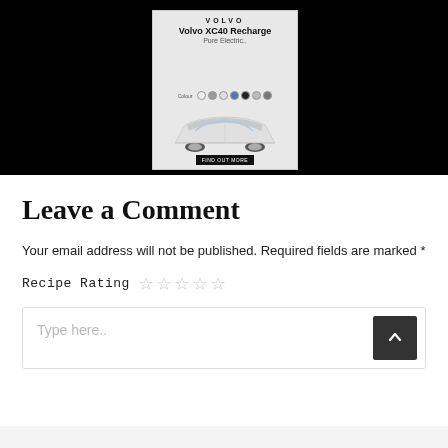[Figure (illustration): Volvo XC40 Recharge Pure Electric advertisement banner showing the car with color selector dots and a call-to-action button on a light grey background]
Leave a Comment
Your email address will not be published. Required fields are marked *
Recipe Rating ☆☆☆☆☆
Type here..